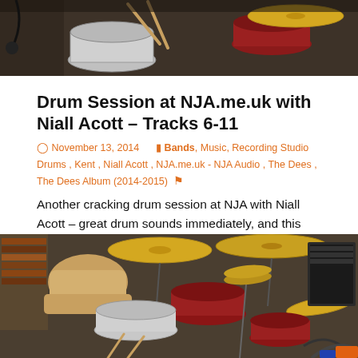[Figure (photo): Top photo of drum kit with cymbals, snare drum, and drumsticks in a recording studio setting]
Drum Session at NJA.me.uk with Niall Acott – Tracks 6-11
November 13, 2014   Bands, Music, Recording Studio Drums, Kent, Niall Acott, NJA.me.uk - NJA Audio, The Dees, The Dees Album (2014-2015)
Another cracking drum session at NJA with Niall Acott – great drum sounds immediately, and this time I had the guide stems all ready – so no hanging around!!
[Figure (photo): Bottom photo of a full drum kit with gold cymbals in a recording studio room with equipment cases and books visible]